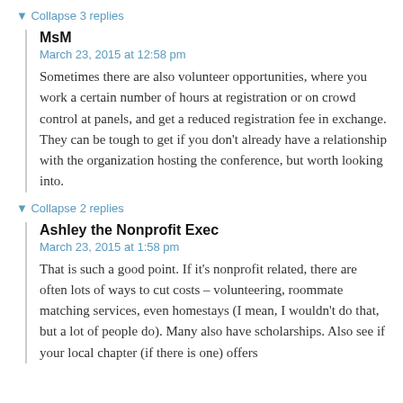▼ Collapse 3 replies
MsM
March 23, 2015 at 12:58 pm
Sometimes there are also volunteer opportunities, where you work a certain number of hours at registration or on crowd control at panels, and get a reduced registration fee in exchange. They can be tough to get if you don't already have a relationship with the organization hosting the conference, but worth looking into.
▼ Collapse 2 replies
Ashley the Nonprofit Exec
March 23, 2015 at 1:58 pm
That is such a good point. If it's nonprofit related, there are often lots of ways to cut costs – volunteering, roommate matching services, even homestays (I mean, I wouldn't do that, but a lot of people do). Many also have scholarships. Also see if your local chapter (if there is one) offers